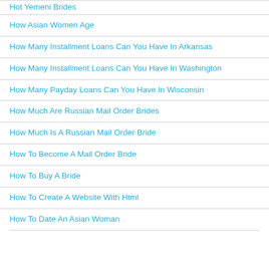Hot Yemeni Brides
How Asian Women Age
How Many Installment Loans Can You Have In Arkansas
How Many Installment Loans Can You Have In Washington
How Many Payday Loans Can You Have In Wisconsin
How Much Are Russian Mail Order Brides
How Much Is A Russian Mail Order Bride
How To Become A Mail Order Bride
How To Buy A Bride
How To Create A Website With Html
How To Date An Asian Woman